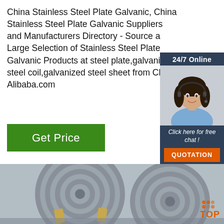China Stainless Steel Plate Galvanic, China Stainless Steel Plate Galvanic Suppliers and Manufacturers Directory - Source a Large Selection of Stainless Steel Plate Galvanic Products at steel plate,galvanized steel coil,galvanized steel sheet from China Alibaba.com
[Figure (other): Chat widget with '24/7 Online' header, photo of a woman with headset, 'Click here for free chat!' text, and orange QUOTATION button]
Get Price
[Figure (photo): Photo of steel coils (galvanized steel sheet rolls) bound with straps, grey industrial setting]